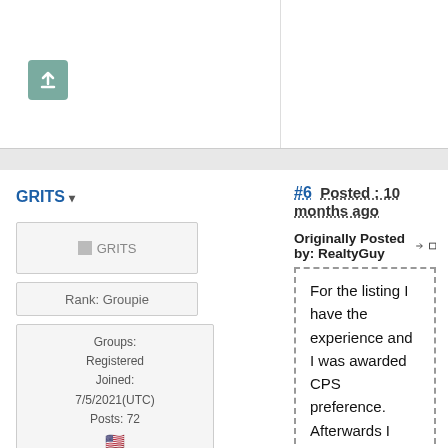[Figure (other): Upload/arrow-up button in teal/green color]
GRITS ▾
#6 Posted : 10 months ago
[Figure (other): GRITS avatar placeholder image]
Rank: Groupie
Groups: Registered
Joined: 7/5/2021(UTC)
Posts: 72
🇺🇸
Originally Posted by: RealtyGuy →□
For the listing I have the experience and I was awarded CPS preference. Afterwards I was referred to hiring manager. It's been 3 weeks since then and I'm curious to know if Covid has affected HUD's hiring process. Anyone recently hired by HUD or recently referred?
Was thanked: